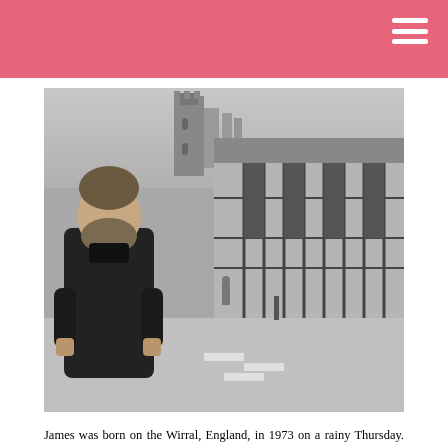[Figure (photo): Black and white photograph of a bearded man in a dark jacket standing on a street in England, with historic Tudor-style timber-framed buildings and a church tower visible in the background.]
James was born on the Wirral, England, in 1973 on a rainy Thursday. He shares his birthday with Bono, Sid Vicious and two even nastier pieces of work, John Wilkes Booth and Mark David Chapman. His mother was a